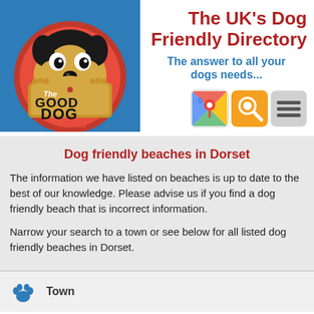[Figure (logo): The Good Dog Guide logo — cartoon dog inside a red circle with text 'The GOOD DOG Guide']
The UK's Dog Friendly Directory
The answer to all your dogs needs...
[Figure (infographic): Three app icon buttons: Google Maps icon, orange search/magnifier icon, and grey hamburger menu icon]
Dog friendly beaches in Dorset
The information we have listed on beaches is up to date to the best of our knowledge. Please advise us if you find a dog friendly beach that is incorrect information.
Narrow your search to a town or see below for all listed dog friendly beaches in Dorset.
Town